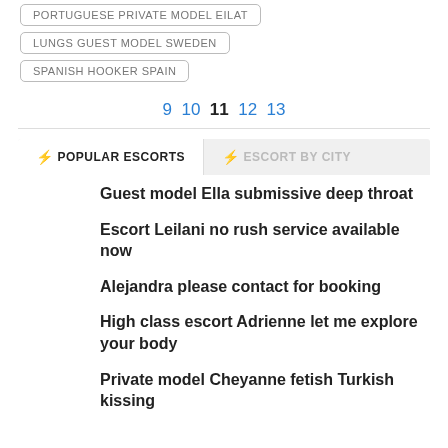PORTUGUESE PRIVATE MODEL EILAT
LUNGS GUEST MODEL SWEDEN
SPANISH HOOKER SPAIN
9 10 11 12 13
POPULAR ESCORTS
ESCORT BY CITY
Guest model Ella submissive deep throat
Escort Leilani no rush service available now
Alejandra please contact for booking
High class escort Adrienne let me explore your body
Private model Cheyanne fetish Turkish kissing